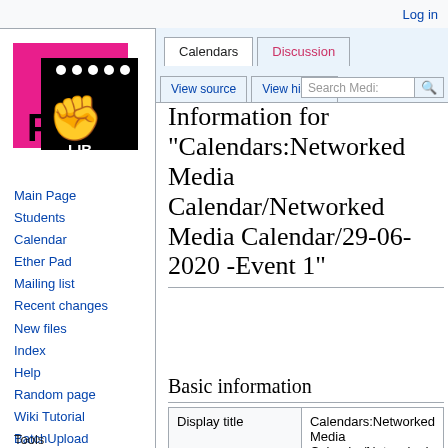Log in
[Figure (logo): Pirate Library logo: pink square background with black square containing white fist raised, letters P and LIB visible]
Main Page
Students
Calendar
Ether Pad
Mailing list
Recent changes
New files
Index
Help
Random page
Wiki Tutorial
BatchUpload
Tools
Information for "Calendars:Networked Media Calendar/Networked Media Calendar/29-06-2020 -Event 1"
Basic information
| Display title | Calendars:Networked Media Calendar/Networked |
| --- | --- |